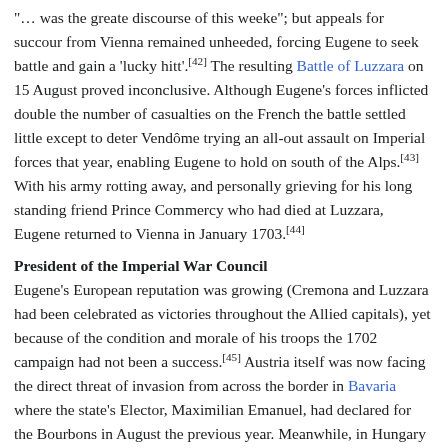"… was the greate discourse of this weeke"; but appeals for succour from Vienna remained unheeded, forcing Eugene to seek battle and gain a 'lucky hitt'.[42] The resulting Battle of Luzzara on 15 August proved inconclusive. Although Eugene's forces inflicted double the number of casualties on the French the battle settled little except to deter Vendôme trying an all-out assault on Imperial forces that year, enabling Eugene to hold on south of the Alps.[43] With his army rotting away, and personally grieving for his long standing friend Prince Commercy who had died at Luzzara, Eugene returned to Vienna in January 1703.[44]
President of the Imperial War Council
Eugene's European reputation was growing (Cremona and Luzzara had been celebrated as victories throughout the Allied capitals), yet because of the condition and morale of his troops the 1702 campaign had not been a success.[45] Austria itself was now facing the direct threat of invasion from across the border in Bavaria where the state's Elector, Maximilian Emanuel, had declared for the Bourbons in August the previous year. Meanwhile, in Hungary a small-scale revolt had broken out in May and was fast gaining